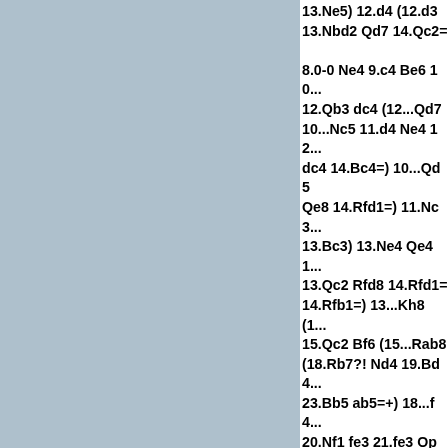13.Ne5) 12.d4 (12.d3 13.Nbd2 Qd7 14.Qc2= 8.0-0 Ne4 9.c4 Be6 10... 12.Qb3 dc4 (12...Qd7 10...Nc5 11.d4 Ne4 12... dc4 14.Bc4=) 10...Qd5 Qe8 14.Rfd1=) 11.Nc3... 13.Bc3) 13.Ne4 Qe4 1... 13.Qc2 Rfd8 14.Rfd1= 14.Rfb1=) 13...Kh8 (1... 15.Qc2 Bf6 (15...Rab8 (18.Rb7?! Nd4 19.Bd4... 23.Bb5 ab5=+) 18...f4... 20.Nf1 fe3 21.fe3 Ope... (worse 21.Ne3 Bd4 2... Qf3 26.Rd7 Qf2 27.Kh... 23.Rd1 White prepare... 25.Qc1=+) 23...Rf3-+ +) 25...Bh3 (25...Qg4 ... 26.Bg7 Kg7 27.Rc7 N... Bf1 30.Rf1 Nd5 31.Rff... (31.Rd5 Rf1) 31...Nc7... 35.Rd7 Kg6 36.Rd6 (3... 36...h5!? 37.Rd1-+) 3...